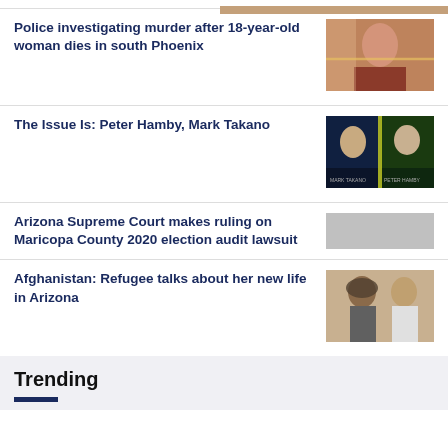[Figure (photo): Partial image strip at top of page (cropped woman's face in warm tones)]
Police investigating murder after 18-year-old woman dies in south Phoenix
[Figure (photo): Photo thumbnail of a young woman with yellow crime scene tape]
The Issue Is: Peter Hamby, Mark Takano
[Figure (photo): TV screenshot showing Mark Takano and Peter Hamby split screen on dark background]
Arizona Supreme Court makes ruling on Maricopa County 2020 election audit lawsuit
[Figure (photo): Faded/partial thumbnail image for Arizona Supreme Court story]
Afghanistan: Refugee talks about her new life in Arizona
[Figure (photo): Photo of two women, one in hijab, standing outdoors]
Trending